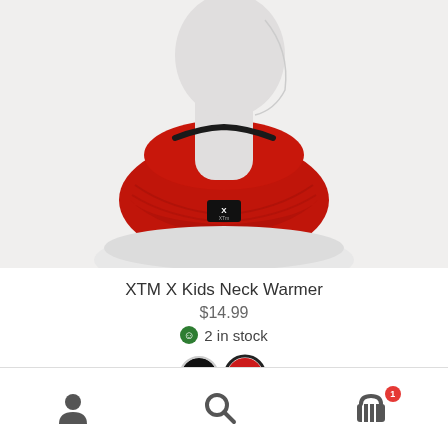[Figure (photo): White mannequin head and neck wearing a red fleece neck warmer/gaiter with a black XTM brand label. Product shown on white/light grey background.]
XTM X Kids Neck Warmer
$14.99
2 in stock
[Figure (other): Two color swatches: black circle and red circle (currently selected, shown with dark border)]
Navigation bar with account icon, search icon, and shopping cart icon with badge showing 1 item